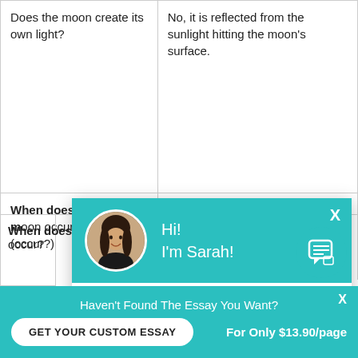| Question | Answer |
| --- | --- |
| Does the moon create its own light? | No, it is reflected from the sunlight hitting the moon's surface. |
| When does a FULL moon occur? | When the moon and sun are on... |
|  | when the m... and sun are o... |
[Figure (screenshot): Chat popup with avatar of Sarah, teal header saying 'Hi! I'm Sarah!' with body text 'Would you like to get a custom essay? How about receiving a customized one?' and 'Check it out' link]
[Figure (infographic): Teal circular chat bubble icon in bottom right]
Haven't Found The Essay You Want?
GET YOUR CUSTOM ESSAY
For Only $13.90/page